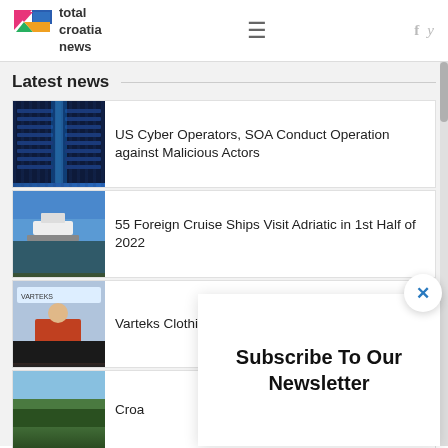total croatia news
Latest news
US Cyber Operators, SOA Conduct Operation against Malicious Actors
55 Foreign Cruise Ships Visit Adriatic in 1st Half of 2022
Varteks Clothing Manufacturer Passing throu
Croa
Subscribe To Our Newsletter